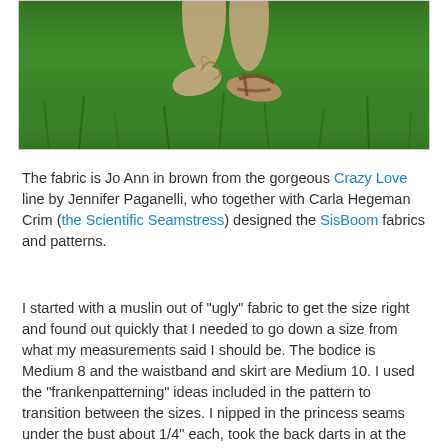[Figure (photo): Photo of feet wearing sandals standing on green grass, cropped to show lower legs and feet only]
The fabric is Jo Ann in brown from the gorgeous Crazy Love line by Jennifer Paganelli, who together with Carla Hegeman Crim (the Scientific Seamstress) designed the SisBoom fabrics and patterns.
I started with a muslin out of "ugly" fabric to get the size right and found out quickly that I needed to go down a size from what my measurements said I should be. The bodice is Medium 8 and the waistband and skirt are Medium 10. I used the "frankenpatterning" ideas included in the pattern to transition between the sizes. I nipped in the princess seams under the bust about 1/4" each, took the back darts in at the middle about 1/4" each, and took out an extra 1/4" on each side down the centre back, tapering out by the end of the zipper.